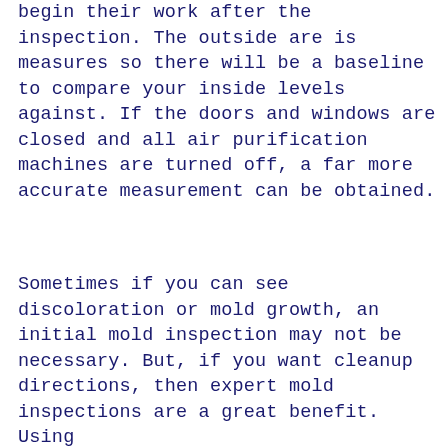begin their work after the inspection. The outside are is measures so there will be a baseline to compare your inside levels against. If the doors and windows are closed and all air purification machines are turned off, a far more accurate measurement can be obtained.
Sometimes if you can see discoloration or mold growth, an initial mold inspection may not be necessary. But, if you want cleanup directions, then expert mold inspections are a great benefit. Using